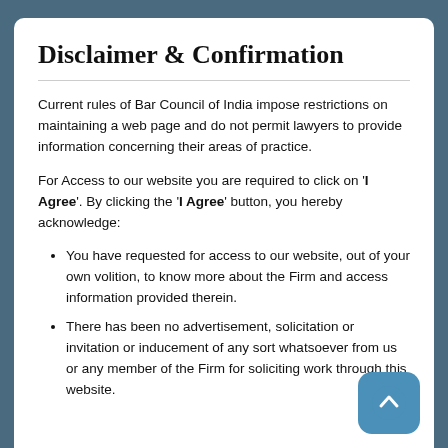Disclaimer & Confirmation
Current rules of Bar Council of India impose restrictions on maintaining a web page and do not permit lawyers to provide information concerning their areas of practice.
For Access to our website you are required to click on 'I Agree'. By clicking the 'I Agree' button, you hereby acknowledge:
You have requested for access to our website, out of your own volition, to know more about the Firm and access information provided therein.
There has been no advertisement, solicitation or invitation or inducement of any sort whatsoever from us or any member of the Firm for soliciting work through this website.